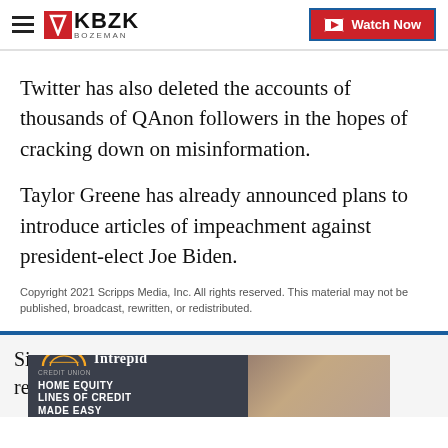KBZK BOZEMAN | Watch Now
Twitter has also deleted the accounts of thousands of QAnon followers in the hopes of cracking down on misinformation.
Taylor Greene has already announced plans to introduce articles of impeachment against president-elect Joe Biden.
Copyright 2021 Scripps Media, Inc. All rights reserved. This material may not be published, broadcast, rewritten, or redistributed.
Sig... re...
[Figure (advertisement): Intrepid Credit Union ad: HOME EQUITY LINES OF CREDIT MADE EASY. Shows Intrepid logo with arc design on dark background, with image of person using tools on right side.]